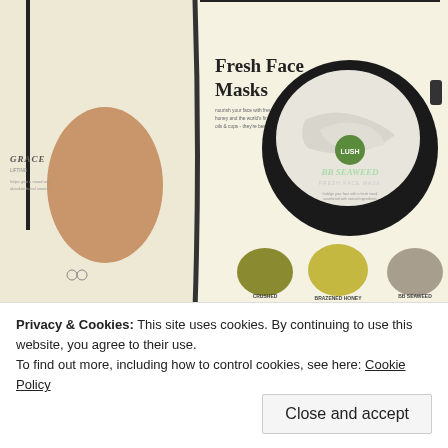[Figure (photo): Photo of an open book/catalog showing 'Fresh Face Masks' section with LUSH BB Seaweed Fresh Face Mask product jar (black round tin with white cream inside) placed on top. Book shows oval swatch of skin-tone product on left page, and three different colored face mask dollops at the bottom (olive green, yellow-green, grayish) labeled CRUSHED, BRAZENED HONEY, BB SEAWEED.]
Privacy & Cookies: This site uses cookies. By continuing to use this website, you agree to their use.
To find out more, including how to control cookies, see here: Cookie Policy